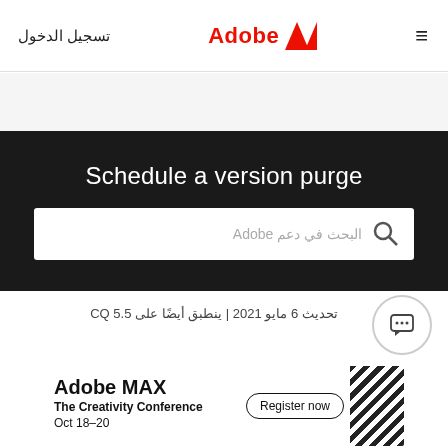تسجيل الدخول | Adobe | ≡
Schedule a version purge
البحث في دعم Adobe
تحديث 6 مايو 2021 | ينطبق أيضًا على CQ 5.5
[Figure (screenshot): Adobe MAX – The Creativity Conference banner with Register now button and Oct 18-20 dates]